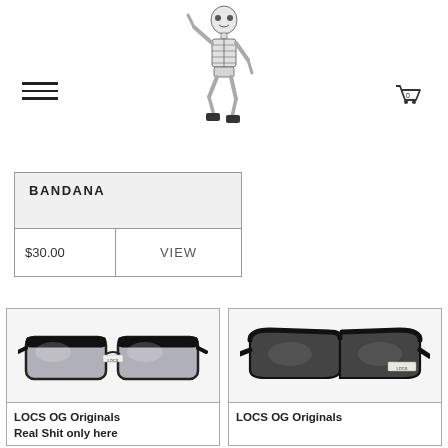[Figure (logo): Dancing skeleton mascot logo for a streetwear/sunglasses brand]
| BANDANA |  |
| --- | --- |
| $30.00 | VIEW |
[Figure (photo): LOCS OG sunglasses - silver mirror lens, black rectangular frame]
LOCS OG Originals Real Shit only here
[Figure (photo): LOCS OG sunglasses - dark lens, black chunky wrap frame]
LOCS OG Originals